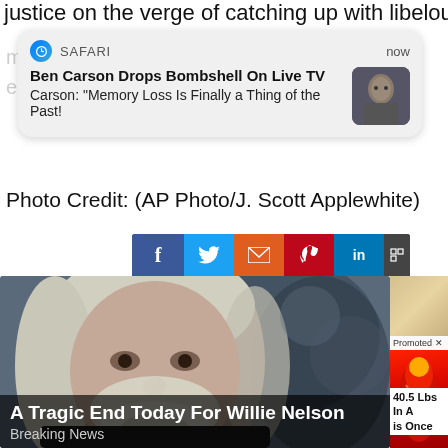justice on the verge of catching up with libelous
[Figure (screenshot): Safari browser push notification showing 'Ben Carson Drops Bombshell On Live TV' with subtext 'Carson: "Memory Loss Is Finally a Thing of the Past!"' and a thumbnail photo of Ben Carson, timestamped 'now']
Photo Credit: (AP Photo/J. Scott Applewhite)
[Figure (screenshot): Social media share buttons bar (Facebook, Twitter, email, Pinterest, LinkedIn) with dark background and an X close button]
[Figure (screenshot): Popup advertisement overlay showing an elderly man with long white hair and beard (Willie Nelson) with overlay text 'A Tragic End Today For Willie Nelson' and 'Breaking News', alongside a smaller promoted ad showing a red anatomical leg image with text '40.5 Lbs In A ... is Once']